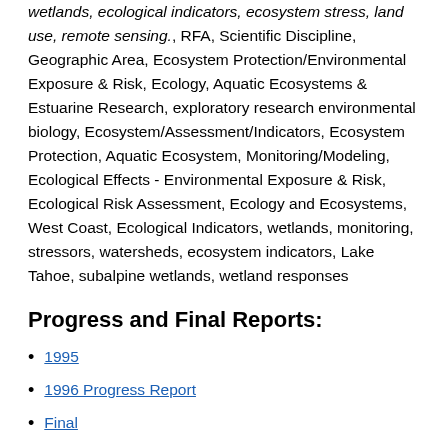wetlands, ecological indicators, ecosystem stress, land use, remote sensing., RFA, Scientific Discipline, Geographic Area, Ecosystem Protection/Environmental Exposure & Risk, Ecology, Aquatic Ecosystems & Estuarine Research, exploratory research environmental biology, Ecosystem/Assessment/Indicators, Ecosystem Protection, Aquatic Ecosystem, Monitoring/Modeling, Ecological Effects - Environmental Exposure & Risk, Ecological Risk Assessment, Ecology and Ecosystems, West Coast, Ecological Indicators, wetlands, monitoring, stressors, watersheds, ecosystem indicators, Lake Tahoe, subalpine wetlands, wetland responses
Progress and Final Reports:
1995
1996 Progress Report
Final